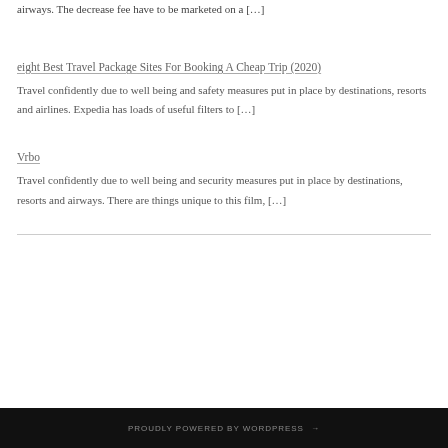airways. The decrease fee have to be marketed on a […]
eight Best Travel Package Sites For Booking A Cheap Trip (2020)
Travel confidently due to well being and safety measures put in place by destinations, resorts and airlines. Expedia has loads of useful filters to […]
Vrbo
Travel confidently due to well being and security measures put in place by destinations, resorts and airways. There are things unique to this film, […]
PROUDLY POWERED BY WORDPRESS →